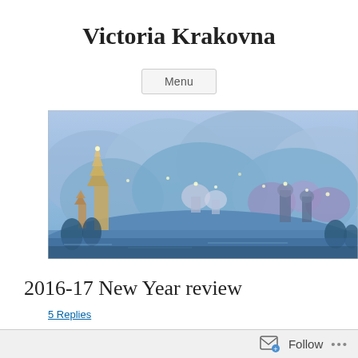Victoria Krakovna
Menu
[Figure (illustration): Wide panoramic fantasy cityscape illustration featuring blue and purple tones, pagodas, domed buildings, mountains, and glowing lights — appears to be a deep-dream or AI-generated artistic image used as a blog header banner.]
2016-17 New Year review
5 Replies
2016 progress
Follow ...